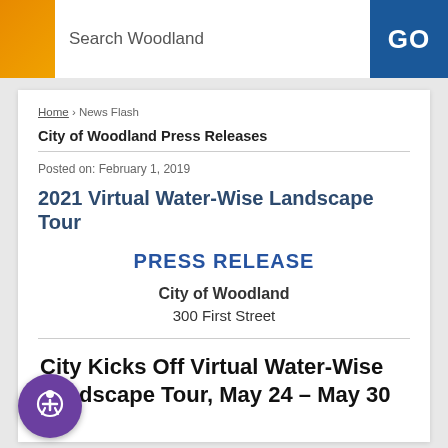Search Woodland   GO
Home › News Flash
City of Woodland Press Releases
Posted on: February 1, 2019
2021 Virtual Water-Wise Landscape Tour
PRESS RELEASE
City of Woodland
300 First Street
City Kicks Off Virtual Water-Wise Landscape Tour, May 24 – May 30